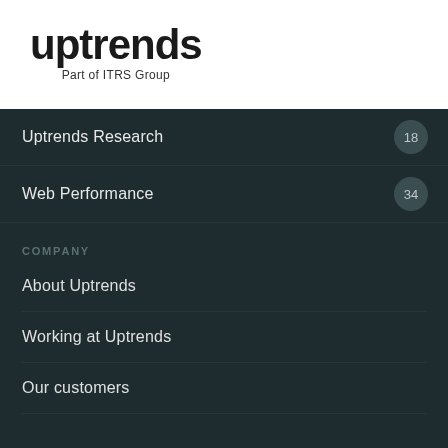[Figure (logo): Uptrends logo with bold lowercase text and subtitle 'Part of ITRS Group']
Uptrends Research  18
Web Performance  34
COMPANY
About Uptrends
Working at Uptrends
Our customers